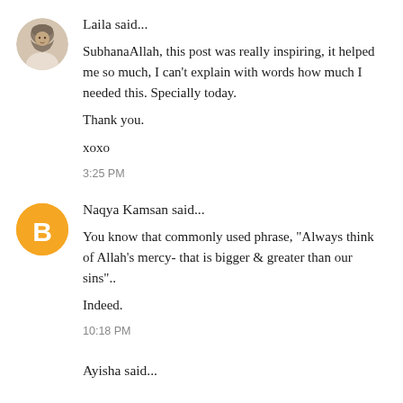Laila said...
SubhanaAllah, this post was really inspiring, it helped me so much, I can't explain with words how much I needed this. Specially today.

Thank you.

xoxo
3:25 PM
Naqya Kamsan said...
You know that commonly used phrase, "Always think of Allah's mercy- that is bigger & greater than our sins".. 

Indeed.
10:18 PM
Ayisha said...